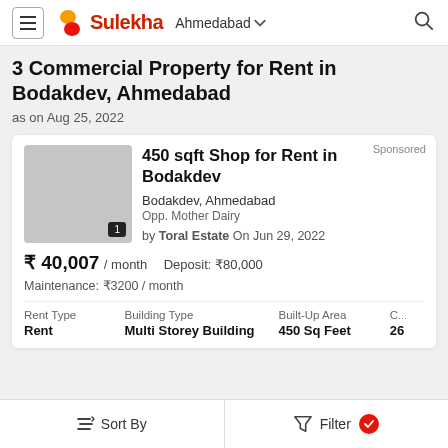Sulekha — Ahmedabad
3 Commercial Property for Rent in Bodakdev, Ahmedabad
as on Aug 25, 2022
Sponsored
450 sqft Shop for Rent in Bodakdev
Bodakdev, Ahmedabad
Opp. Mother Dairy
by Toral Estate On Jun 29, 2022
₹ 40,007 / month   Deposit: ₹80,000
Maintenance: ₹3200 / month
| Rent Type | Building Type | Built-Up Area | C... |
| --- | --- | --- | --- |
| Rent | Multi Storey Building | 450 Sq Feet | 26 |
Sort By   Filter